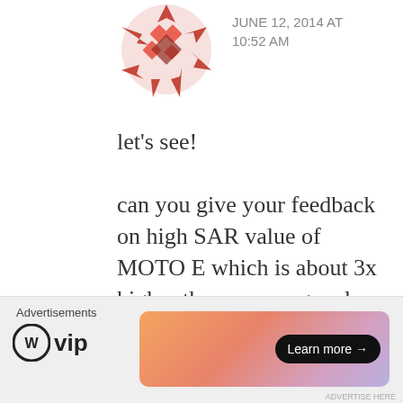[Figure (illustration): Red decorative avatar/icon with geometric pattern, partially visible at top]
JUNE 12, 2014 AT 10:52 AM
let's see!
can you give your feedback on high SAR value of MOTO E which is about 3x higher than samsung and nokia devices
Like
[Figure (illustration): Blue/purple checkered avatar icon for user MK]
MK
[Figure (logo): WordPress VIP logo with learn more ad banner]
Advertisements